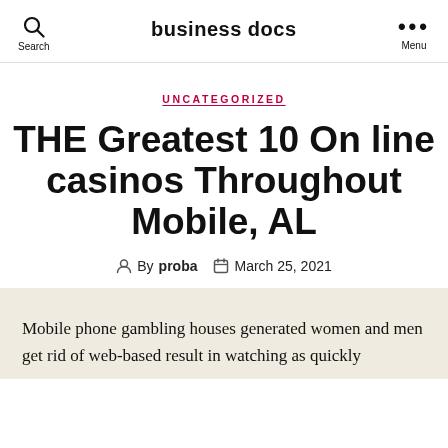business docs
UNCATEGORIZED
THE Greatest 10 On line casinos Throughout Mobile, AL
By proba   March 25, 2021
Mobile phone gambling houses generated women and men get rid of web-based result in watching as quickly